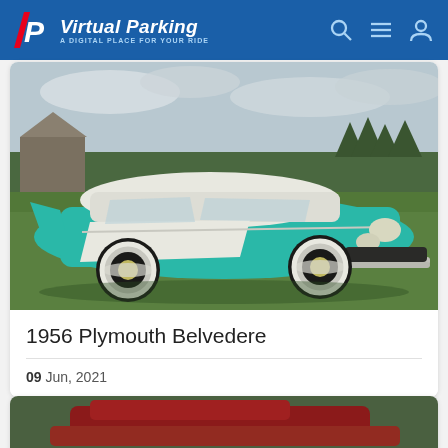Virtual Parking — A DIGITAL PLACE FOR YOUR RIDE
[Figure (photo): 1956 Plymouth Belvedere classic car in teal/turquoise and white two-tone paint, parked on grass with a barn and trees in the background. Overcast sky.]
1956 Plymouth Belvedere
09 Jun, 2021
[Figure (photo): Partial view of another classic car, appears to be red/maroon, partially cropped at bottom of page.]